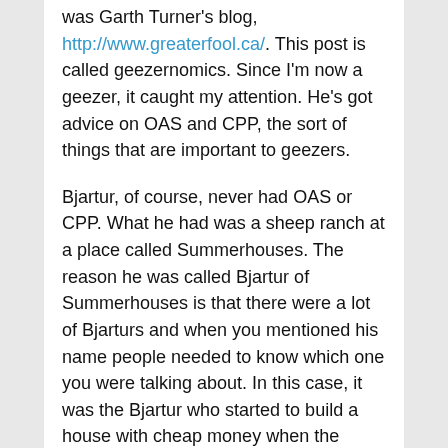was Garth Turner's blog, http://www.greaterfool.ca/. This post is called geezernomics. Since I'm now a geezer, it caught my attention. He's got advice on OAS and CPP, the sort of things that are important to geezers.
Bjartur, of course, never had OAS or CPP. What he had was a sheep ranch at a place called Summerhouses. The reason he was called Bjartur of Summerhouses is that there were a lot of Bjarturs and when you mentioned his name people needed to know which one you were talking about. In this case, it was the Bjartur who started to build a house with cheap money when the market for sheep products was good and had it foreclosed on when he couldn't pay his loan.
However, there are people who feel they, unlike Bjartur, can never have this happen. After all, real estate always goes up. Except in Vancouver there is already a property being offered 40 % below assessment. 40%. 30% below assessment is common. Don't roll your eyes. This is coming to you. There's an ad on Craiglist by a couple who